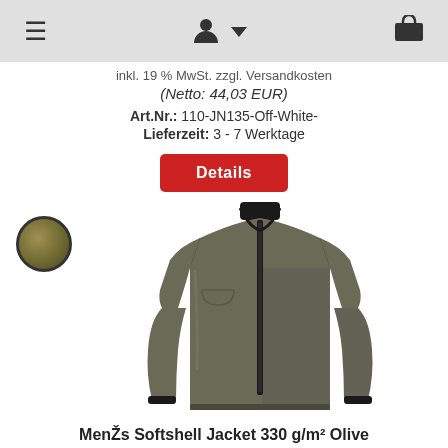≡ [user icon] [cart icon]
inkl. 19 % MwSt. zzgl. Versandkosten
(Netto: 44,03 EUR)
Art.Nr.: 110-JN135-Off-White-
Lieferzeit: 3 - 7 Werktage
Details
[Figure (photo): Olive colored softshell jacket product photo with color swatch circle]
MenŽs Softshell Jacket 330 g/m² Olive